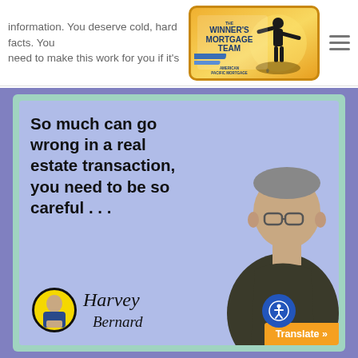information. You deserve cold, hard facts. You need to make this work for you if it's
[Figure (logo): The Winner's Mortgage Team - American Pacific Mortgage logo on an orange/gold gradient background with a silhouette of a person with arms raised]
[Figure (illustration): Promotional image with blue/purple background and teal border frame. Text reads: 'So much can go wrong in a real estate transaction, you need to be so careful ...' with Harvey Bernard signature and avatar, and a photo of a man in dark shirt.]